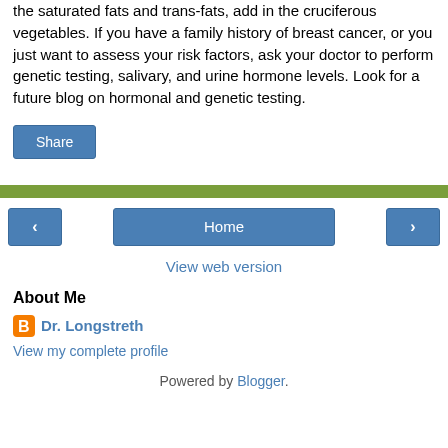the saturated fats and trans-fats, add in the cruciferous vegetables. If you have a family history of breast cancer, or you just want to assess your risk factors, ask your doctor to perform genetic testing, salivary, and urine hormone levels. Look for a future blog on hormonal and genetic testing.
Share
< Home >
View web version
About Me
Dr. Longstreth
View my complete profile
Powered by Blogger.